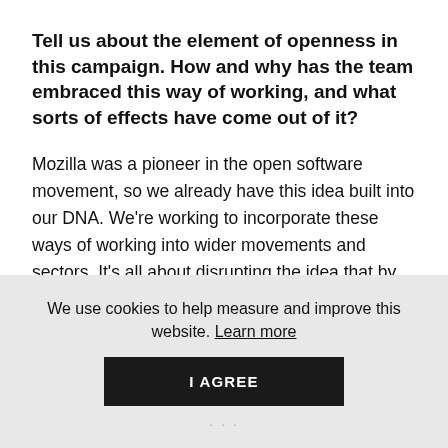Tell us about the element of openness in this campaign. How and why has the team embraced this way of working, and what sorts of effects have come out of it?
Mozilla was a pioneer in the open software movement, so we already have this idea built into our DNA. We're working to incorporate these ways of working into wider movements and sectors. It's all about disrupting the idea that by sharing our work we're giving away some 'secret sauce', in favour of the
We use cookies to help measure and improve this website. Learn more
I AGREE